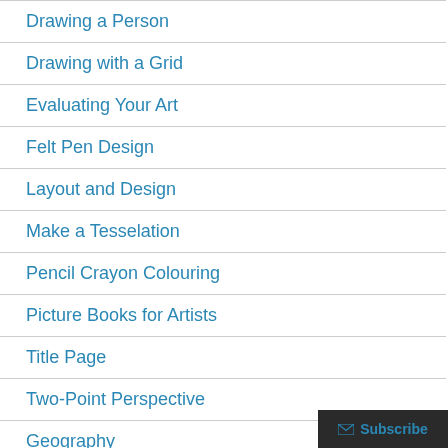Drawing a Person
Drawing with a Grid
Evaluating Your Art
Felt Pen Design
Layout and Design
Make a Tesselation
Pencil Crayon Colouring
Picture Books for Artists
Title Page
Two-Point Perspective
Geography